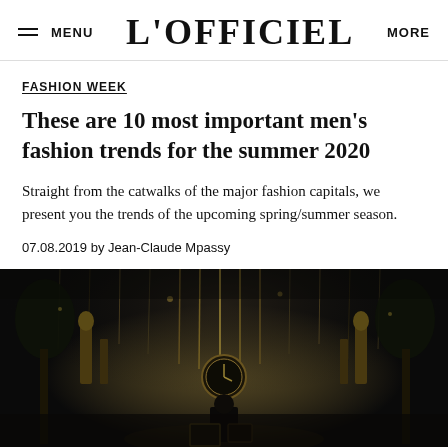MENU | L'OFFICIEL | MORE
FASHION WEEK
These are 10 most important men's fashion trends for the summer 2020
Straight from the catwalks of the major fashion capitals, we present you the trends of the upcoming spring/summer season.
07.08.2019 by Jean-Claude Mpassy
[Figure (photo): Dark atmospheric fashion runway/venue photo showing an ornate interior with hanging crystal decorations, golden statues, and dim ambient lighting. A figure is visible in the lower center.]